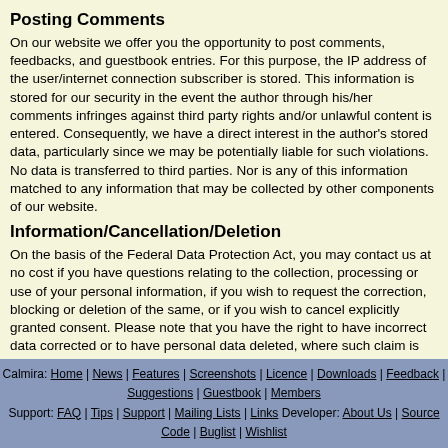Posting Comments
On our website we offer you the opportunity to post comments, feedbacks, and guestbook entries. For this purpose, the IP address of the user/internet connection subscriber is stored. This information is stored for our security in the event the author through his/her comments infringes against third party rights and/or unlawful content is entered. Consequently, we have a direct interest in the author's stored data, particularly since we may be potentially liable for such violations. No data is transferred to third parties. Nor is any of this information matched to any information that may be collected by other components of our website.
Information/Cancellation/Deletion
On the basis of the Federal Data Protection Act, you may contact us at no cost if you have questions relating to the collection, processing or use of your personal information, if you wish to request the correction, blocking or deletion of the same, or if you wish to cancel explicitly granted consent. Please note that you have the right to have incorrect data corrected or to have personal data deleted, where such claim is not barred by any legal obligation to retain this data.
Sample Data Privacy Policy Statement provided by the Law Offices of Weiß & Partner
Calmira: Home | News | Features | Screenshots | Licence | Downloads | Feedback | Suggestions | Guestbook | Members
Support: FAQ | Tips | Support | Mailing Lists | Links Developer: About Us | Source Code | Buglist | Wishlist